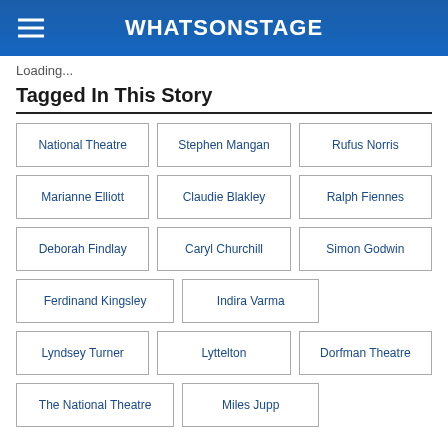WhatsOnStage
Loading...
Tagged In This Story
National Theatre
Stephen Mangan
Rufus Norris
Marianne Elliott
Claudie Blakley
Ralph Fiennes
Deborah Findlay
Caryl Churchill
Simon Godwin
Ferdinand Kingsley
Indira Varma
Lyndsey Turner
Lyttelton
Dorfman Theatre
The National Theatre
Miles Jupp